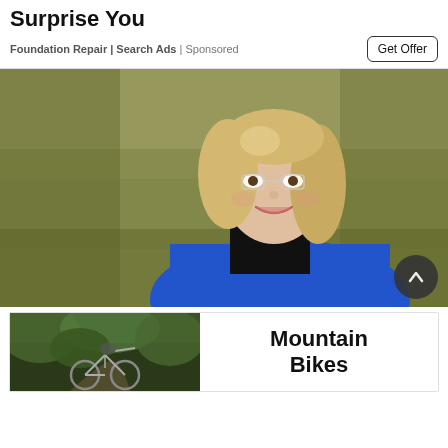Surprise You
Foundation Repair | Search Ads | Sponsored
[Figure (photo): Professional headshot of a smiling young woman with blonde wavy hair and glasses, wearing a blue cardigan over a black top, photographed outdoors with blurred natural grass/field background]
[Figure (photo): Advertisement banner showing a mountain biker on a trail (left side, green foliage background) and bold text 'Mountain Bikes' on white background (right side)]